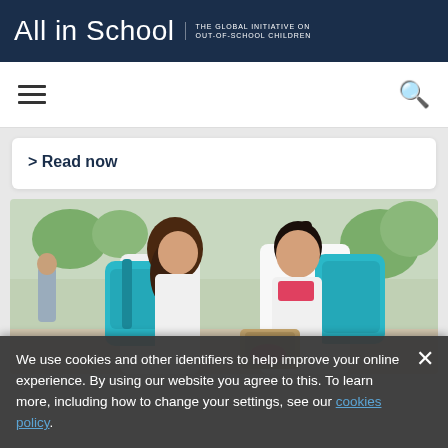All in School | THE GLOBAL INITIATIVE ON OUT-OF-SCHOOL CHILDREN
Read now
[Figure (photo): Two schoolgirls wearing teal/blue backpacks and school uniforms talking to each other outdoors near a school, with other students visible in the background]
We use cookies and other identifiers to help improve your online experience. By using our website you agree to this. To learn more, including how to change your settings, see our cookies policy.